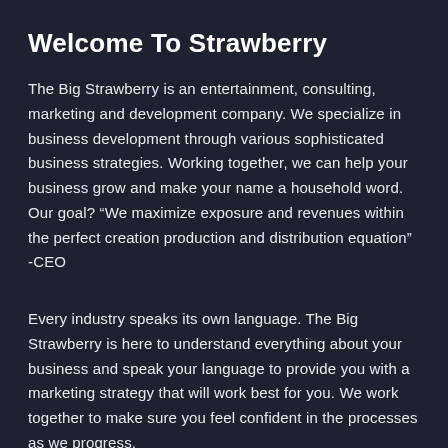Welcome To Strawberry
The Big Strawberry is an entertainment, consulting, marketing and development company. We specialize in business development through various sophisticated business strategies. Working together, we can help your business grow and make your name a household word. Our goal? “We maximize exposure and revenues within the perfect creation production and distribution equation” -CEO
Every industry speaks its own language. The Big Strawberry is here to understand everything about your business and speak your language to provide you with a marketing strategy that will work best for you. We work together to make sure you feel confident in the processes as we progress.